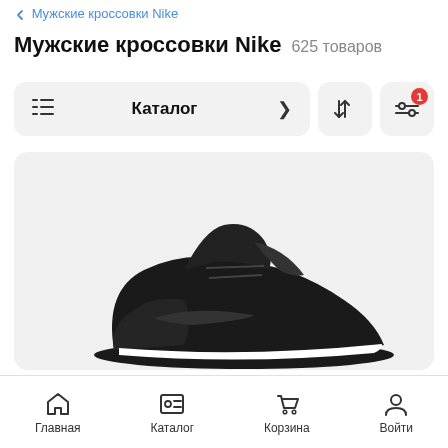< Мужские кроссовки Nike
Мужские кроссовки Nike  625 товаров
Каталог >
[Figure (screenshot): Product listing page for Nike men's sneakers showing a black Nike sneaker on a gray background]
Главная  Каталог  Корзина  Войти